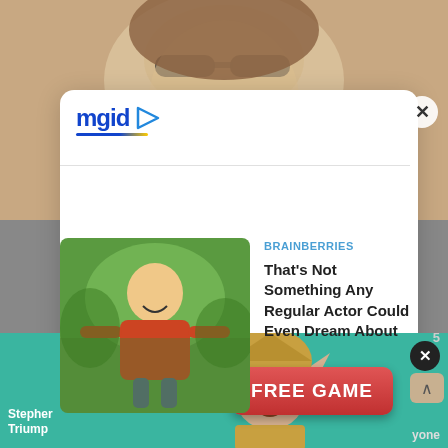[Figure (screenshot): Top background photo of a person wearing sunglasses, smiling]
[Figure (logo): mgid logo with play button icon and colored underline]
[Figure (photo): Thumbnail of a man in a red shirt with arms spread outdoors]
BRAINBERRIES
That's Not Something Any Regular Actor Could Even Dream About
[Figure (photo): Thumbnail of a person standing in a doorway or hallway]
HERBEAUTY
A Mental Health Chatbot Which Helps People With Depression
[Figure (illustration): Fantasy elf character illustration on teal background with FREE GAME button advertisement]